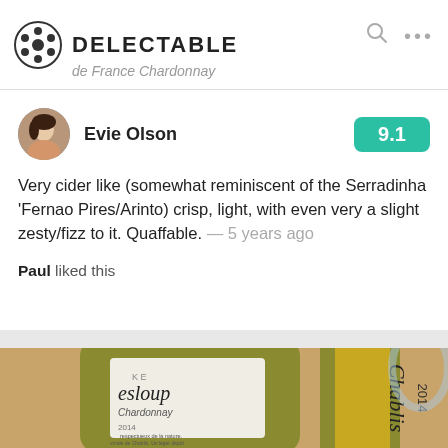DELECTABLE
de France Chardonnay
Evie Olson  9.1
Very cider like (somewhat reminiscent of the Serradinha 'Fernao Pires/Arinto) crisp, light, with even very a slight zesty/fizz to it. Quaffable. — 5 years ago
Paul liked this
[Figure (photo): Close-up photo of wine bottles — one showing label partially reading 'esloup' and French text, the other showing 'Chablis 2014' on a gold/yellow label.]